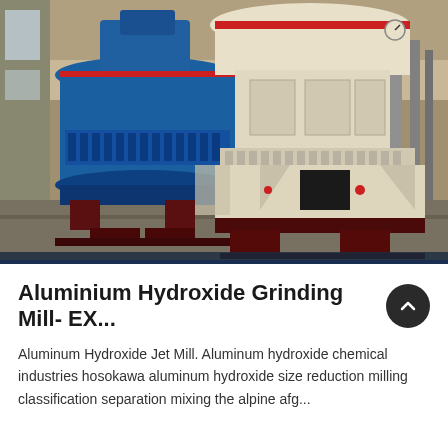[Figure (photo): Industrial grinding mill equipment in a factory setting. Two large machines visible: one blue cone crusher on the left and one cream/beige cone crusher on the right, both mounted on dark red/maroon bases. Factory floor with concrete walls and columns in the background.]
Aluminium Hydroxide Grinding Mill- EX...
Aluminum Hydroxide Jet Mill. Aluminum hydroxide chemical industries hosokawa aluminum hydroxide size reduction milling classification separation mixing the alpine afg...